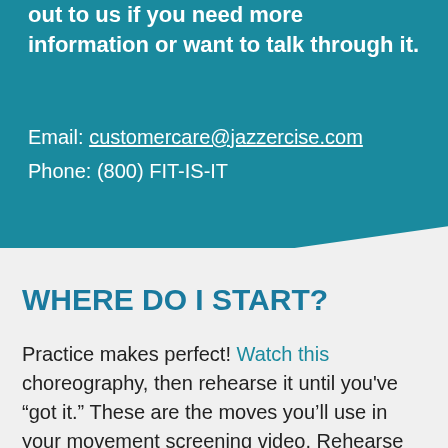out to us if you need more information or want to talk through it.
Email: customercare@jazzercise.com
Phone: (800) FIT-IS-IT
WHERE DO I START?
Practice makes perfect! Watch this choreography, then rehearse it until you've “got it.” These are the moves you’ll use in your movement screening video. Rehearse with your instructor – and on your own – before applying. Once you apply, you’ll have one week to submit that movement screening video.